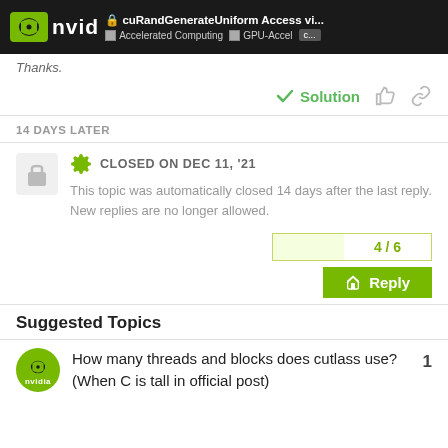cuRandGenerateUniform Access vi... | Accelerated Computing | GPU-Accel C...
Thanks.
Solution
14 DAYS LATER
CLOSED ON DEC 11, '21
This topic was automatically closed 14 days after the last reply. New replies are no longer allowed.
4 / 6
Reply
Suggested Topics
How many threads and blocks does cutlass use? (When C is tall in official post)